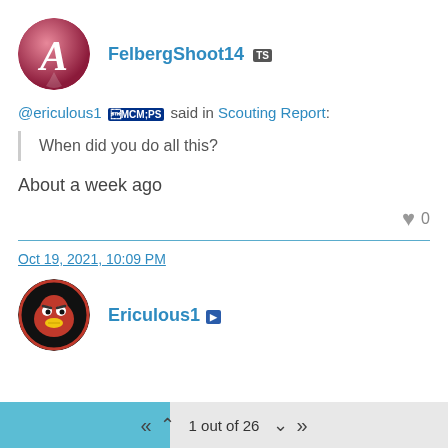[Figure (illustration): Circular avatar with pink/red gradient background and white letter A in cursive script]
FelbergShoot14 [TS badge] said in Scouting Report:
When did you do all this?
About a week ago
♥ 0
Oct 19, 2021, 10:09 PM
[Figure (illustration): Circular avatar with dark background showing a cartoon red bird mascot with yellow beak]
Ericulous1 [PS icon]
1 out of 26